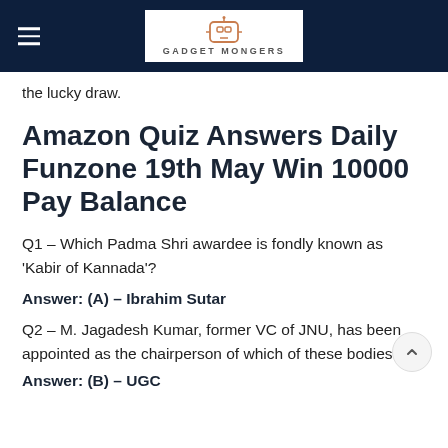GADGET MONGERS
the lucky draw.
Amazon Quiz Answers Daily Funzone 19th May Win 10000 Pay Balance
Q1 – Which Padma Shri awardee is fondly known as 'Kabir of Kannada'?
Answer: (A) – Ibrahim Sutar
Q2 – M. Jagadesh Kumar, former VC of JNU, has been appointed as the chairperson of which of these bodies?
Answer: (B) – UGC